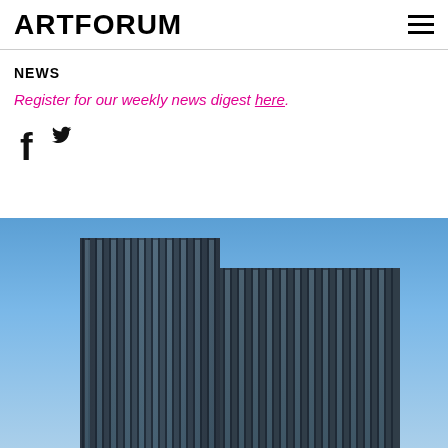ARTFORUM
NEWS
Register for our weekly news digest here.
[Figure (illustration): Social media icons: Facebook (f) and Twitter (bird)]
[Figure (photo): Upward view of a modern glass skyscraper tower against a clear blue sky, showing the building facade with vertical fins and reflective windows]